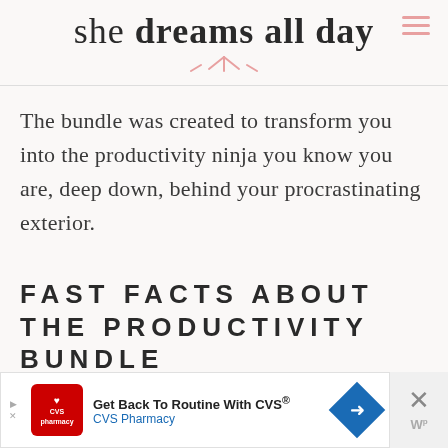she dreams all day
The bundle was created to transform you into the productivity ninja you know you are, deep down, behind your procrastinating exterior.
FAST FACTS ABOUT THE PRODUCTIVITY BUNDLE
[Figure (infographic): Advertisement banner for CVS Pharmacy: Get Back To Routine With CVS®, with CVS logo, directional arrow icon, close button and W logo]